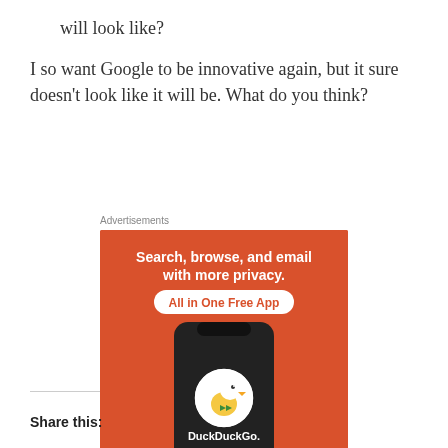will look like?
I so want Google to be innovative again, but it sure doesn't look like it will be. What do you think?
Advertisements
[Figure (other): DuckDuckGo advertisement banner with orange background. Text reads: 'Search, browse, and email with more privacy. All in One Free App'. Shows a smartphone with DuckDuckGo logo and 'DuckDuckGo.' text below.]
Share this: